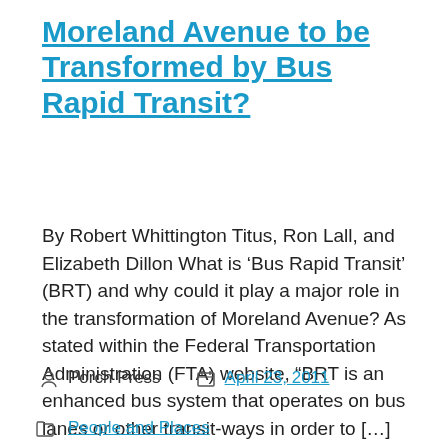Moreland Avenue to be Transformed by Bus Rapid Transit?
By Robert Whittington Titus, Ron Lall, and Elizabeth Dillon What is ‘Bus Rapid Transit’ (BRT) and why could it play a major role in the transformation of Moreland Avenue? As stated within the Federal Transportation Administration (FTA) website, “BRT is an enhanced bus system that operates on bus lanes or other transit-ways in order to […]
Porch Press  April 23, 2011
People and Places